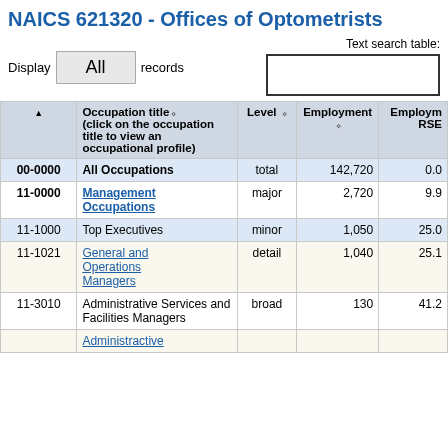NAICS 621320 - Offices of Optometrists
Display All records   Text search table:
| Occupation code | Occupation title (click on the occupation title to view an occupational profile) | Level | Employment | Employment RSE |
| --- | --- | --- | --- | --- |
| 00-0000 | All Occupations | total | 142,720 | 0.0 |
| 11-0000 | Management Occupations | major | 2,720 | 9.9 |
| 11-1000 | Top Executives | minor | 1,050 | 25.0 |
| 11-1021 | General and Operations Managers | detail | 1,040 | 25.1 |
| 11-3010 | Administrative Services and Facilities Managers | broad | 130 | 41.2 |
| 11-3010 | Administrative... | broad |  |  |